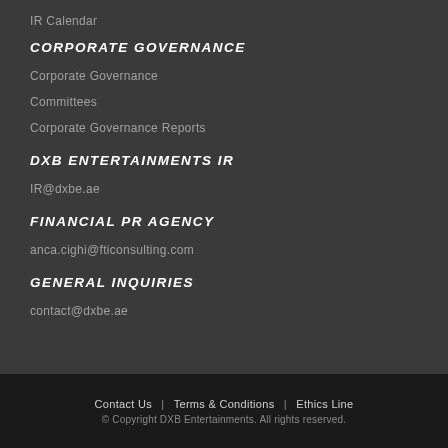IR Calendar
CORPORATE GOVERNANCE
Corporate Governance
Committees
Corporate Governance Reports
DXB ENTERTAINMENTS IR
IR@dxbe.ae
FINANCIAL PR AGENCY
anca.cighi@fticonsulting.com
GENERAL INQUIRIES
contact@dxbe.ae
Contact Us | Terms & Conditions | Ethics Line
© Copyright DXB Entertainments. All rights reserved.